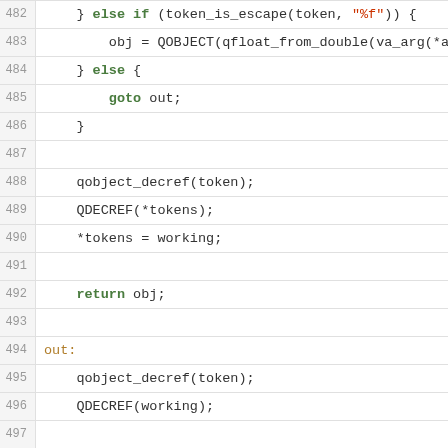[Figure (screenshot): Source code viewer showing C code lines 482-508 with syntax highlighting. Keywords in green, labels in orange, strings in red, NULL in blue, line numbers in gray on left gutter.]